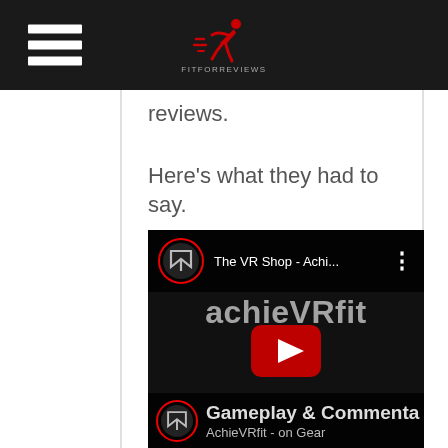Navigation bar with hamburger menu and achieVRfit logo
reviews.
Here’s what they had to say.
[Figure (screenshot): YouTube video thumbnail showing 'The VR Shop - Achi...' with achieVRfit branding, a play button, and bottom bar reading 'Gameplay & Commenta' / 'AchieVRfit - on Gear']